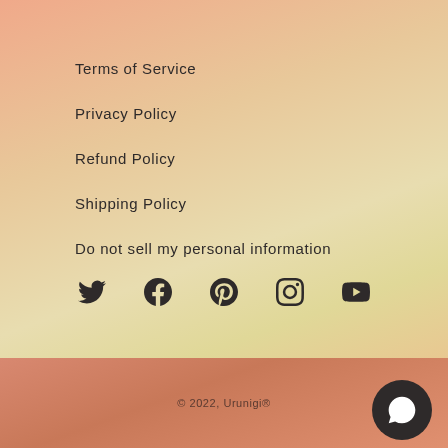Terms of Service
Privacy Policy
Refund Policy
Shipping Policy
Do not sell my personal information
[Figure (infographic): Social media icons row: Twitter, Facebook, Pinterest, Instagram, YouTube]
© 2022, Urunigi®